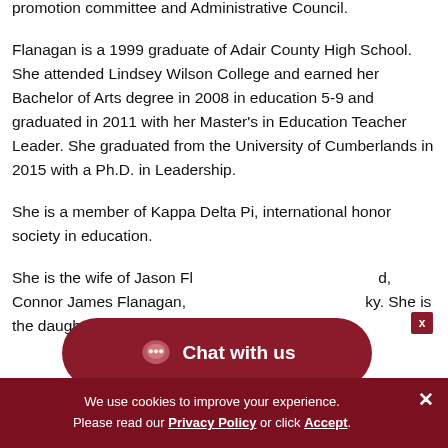promotion committee and Administrative Council.
Flanagan is a 1999 graduate of Adair County High School. She attended Lindsey Wilson College and earned her Bachelor of Arts degree in 2008 in education 5-9 and graduated in 2011 with her Master’s in Education Teacher Leader. She graduated from the University of Cumberlands in 2015 with a Ph.D. in Leadership.
She is a member of Kappa Delta Pi, international honor society in education.
She is the wife of Jason Fl... d, Connor James Flanagan, ... ky. She is the daughter of Sharon Palumbo of Columbia.
[Figure (other): Chat with us button overlay - dark red pill-shaped button with chat icon and text 'Chat with us']
We use cookies to improve your experience. Please read our Privacy Policy or click Accept.